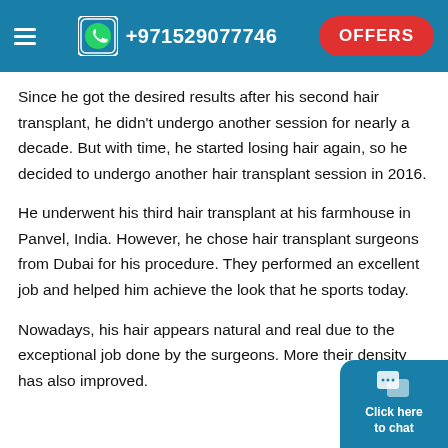+971529077746  OFFERS
Since he got the desired results after his second hair transplant, he didn't undergo another session for nearly a decade. But with time, he started losing hair again, so he decided to undergo another hair transplant session in 2016.
He underwent his third hair transplant at his farmhouse in Panvel, India. However, he chose hair transplant surgeons from Dubai for his procedure. They performed an excellent job and helped him achieve the look that he sports today.
Nowadays, his hair appears natural and real due to the exceptional job done by the surgeons. Moreover, their density has also improved.